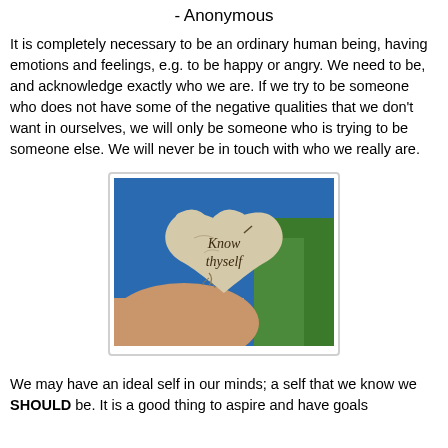- Anonymous
It is completely necessary to be an ordinary human being, having emotions and feelings, e.g. to be happy or angry. We need to be, and acknowledge exactly who we are. If we try to be someone who does not have some of the negative qualities that we don't want in ourselves, we will only be someone who is trying to be someone else. We will never be in touch with who we really are.
[Figure (photo): A hand holding a heart-shaped stone with the words 'Know thyself' carved into it, with a blue sky and green trees in the background.]
We may have an ideal self in our minds; a self that we know we SHOULD be. It is a good thing to aspire and have goals